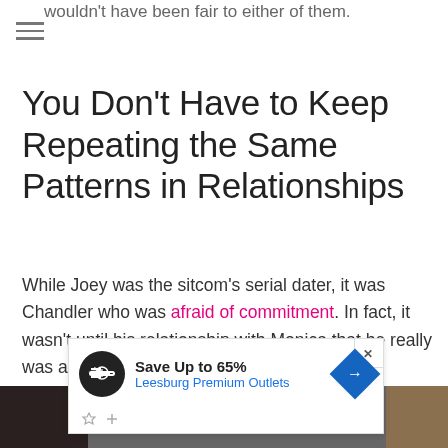wouldn't have been fair to either of them.
You Don't Have to Keep Repeating the Same Patterns in Relationships
While Joey was the sitcom's serial dater, it was Chandler who was afraid of commitment. In fact, it wasn't until his relationship with Monica that he really was able to confront his issues.
[Figure (screenshot): Advertisement banner: Save Up to 65% Leesburg Premium Outlets with logo circle and direction arrow icon]
[Figure (photo): Partial photo strip at bottom of page showing two partial images]